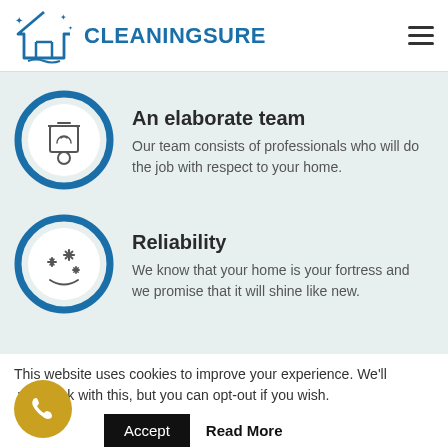CLEANINGSURE
[Figure (illustration): Blue circle icon with a cleaning/trash can and recycle symbol]
An elaborate team
Our team consists of professionals who will do the job with respect to your home.
[Figure (illustration): Blue circle icon with sparkle/shine stars]
Reliability
We know that your home is your fortress and we promise that it will shine like new.
This website uses cookies to improve your experience. We'll assume you're ok with this, but you can opt-out if you wish.
Accept
Read More